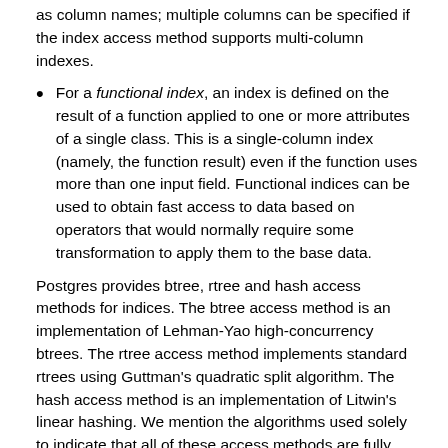as column names; multiple columns can be specified if the index access method supports multi-column indexes.
For a functional index, an index is defined on the result of a function applied to one or more attributes of a single class. This is a single-column index (namely, the function result) even if the function uses more than one input field. Functional indices can be used to obtain fast access to data based on operators that would normally require some transformation to apply them to the base data.
Postgres provides btree, rtree and hash access methods for indices. The btree access method is an implementation of Lehman-Yao high-concurrency btrees. The rtree access method implements standard rtrees using Guttman's quadratic split algorithm. The hash access method is an implementation of Litwin's linear hashing. We mention the algorithms used solely to indicate that all of these access methods are fully dynamic and do not have to be optimized periodically (as is the case with, for example, static hash access methods).